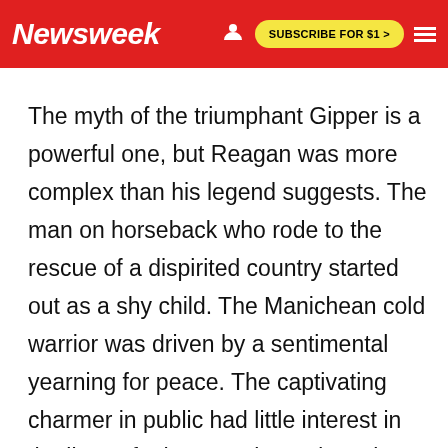Newsweek | SUBSCRIBE FOR $1 >
The myth of the triumphant Gipper is a powerful one, but Reagan was more complex than his legend suggests. The man on horseback who rode to the rescue of a dispirited country started out as a shy child. The Manichean cold warrior was driven by a sentimental yearning for peace. The captivating charmer in public had little interest in the lives of other people, and no close friends.